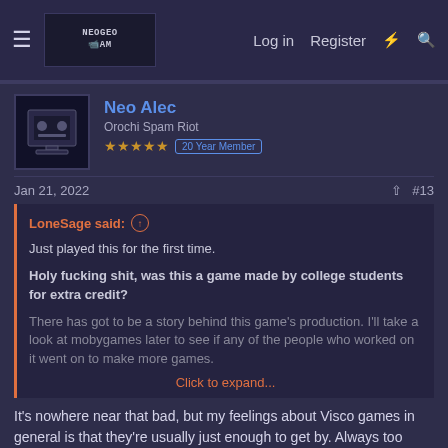NEOGEORAM | Log in | Register
Neo Alec
Orochi Spam Riot
★★★★★  20 Year Member
Jan 21, 2022  #13
LoneSage said:
Just played this for the first time.

Holy fucking shit, was this a game made by college students for extra credit?

There has got to be a story behind this game's production. I'll take a look at mobygames later to see if any of the people who worked on it went on to make more games.
Click to expand...
It's nowhere near that bad, but my feelings about Visco games in general is that they're usually just enough to get by. Always too short, behind the times, and the graphics quality just isn't quite there. That's why it's weird when they do a really great game like Breakers. Some